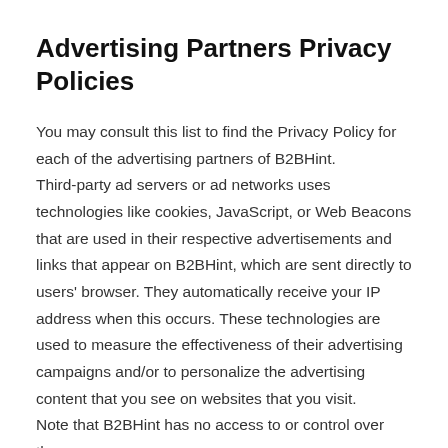Advertising Partners Privacy Policies
You may consult this list to find the Privacy Policy for each of the advertising partners of B2BHint. Third-party ad servers or ad networks uses technologies like cookies, JavaScript, or Web Beacons that are used in their respective advertisements and links that appear on B2BHint, which are sent directly to users' browser. They automatically receive your IP address when this occurs. These technologies are used to measure the effectiveness of their advertising campaigns and/or to personalize the advertising content that you see on websites that you visit. Note that B2BHint has no access to or control over these